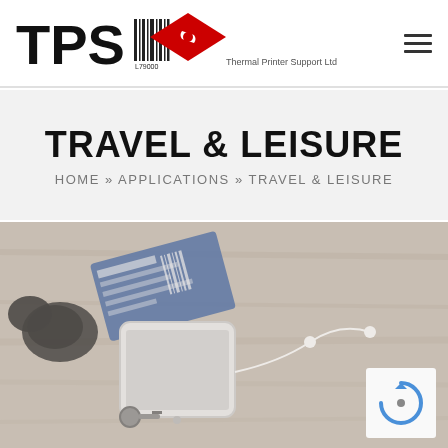[Figure (logo): TPS Thermal Printer Support Ltd logo with barcode and red diamond wrench icon]
[Figure (other): Hamburger menu icon (three horizontal lines)]
TRAVEL & LEISURE
HOME » APPLICATIONS » TRAVEL & LEISURE
[Figure (photo): Travel items on wooden surface: sunglasses, smartphone, boarding passes, earphones, keys]
[Figure (other): reCAPTCHA badge logo]